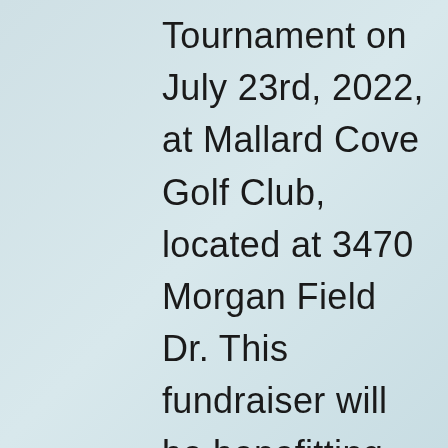Tournament on July 23rd, 2022, at Mallard Cove Golf Club, located at 3470 Morgan Field Dr. This fundraiser will be benefitting the followlng programs: Dr. Ulric Pryce Scholarship, Sickle Cell